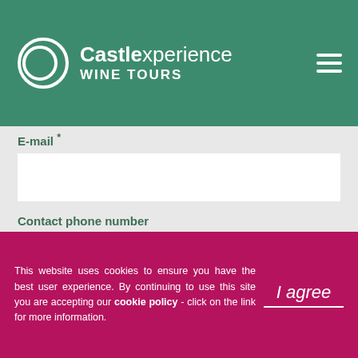Castlexperience WINE TOURS
Full name *
E-mail *
Contact phone number
Country
Food restrictions
Please specify in Comments box
Comments
This website uses cookies to ensure you have the best user experience. By continuing to use this site you are accepting our cookie policy - click on the link for more information.
I agree